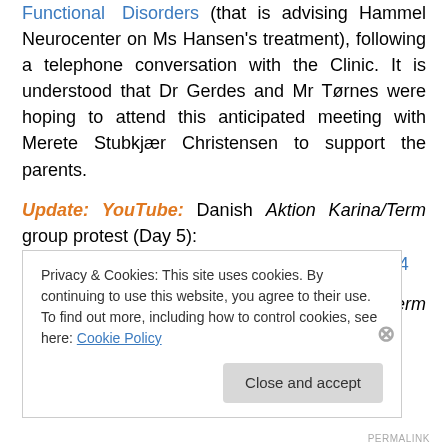Functional Disorders (that is advising Hammel Neurocenter on Ms Hansen's treatment), following a telephone conversation with the Clinic. It is understood that Dr Gerdes and Mr Tørnes were hoping to attend this anticipated meeting with Merete Stubkjær Christensen to support the parents.
Update: YouTube: Danish Aktion Karina/Term group protest (Day 5): http://www.youtube.com/watch?v=0tAAJvJmhH4
Update: YouTube: Danish Aktion Karina/Term group
Privacy & Cookies: This site uses cookies. By continuing to use this website, you agree to their use.
To find out more, including how to control cookies, see here: Cookie Policy